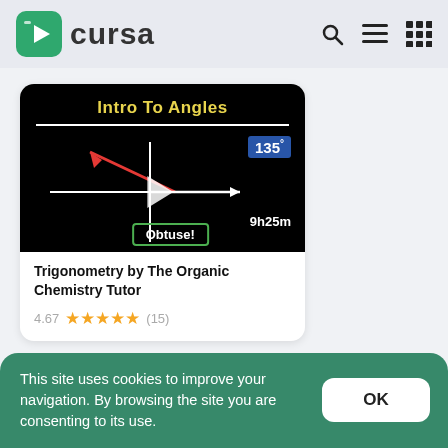Cursa
[Figure (screenshot): Thumbnail image for Trigonometry course showing 'Intro To Angles' with 135 degree angle illustration, obtuse label, play button, and 9h25m duration]
Trigonometry by The Organic Chemistry Tutor
4.67 ★★★★½ (15)
Text courses
This site uses cookies to improve your navigation. By browsing the site you are consenting to its use.